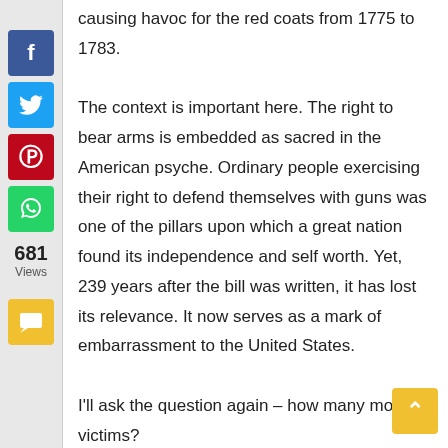[Figure (infographic): Social media share buttons sidebar: Facebook (blue), Twitter (blue), Pinterest (red), WhatsApp (green), comment button (yellow). View count showing 681 Views.]
causing havoc for the red coats from 1775 to 1783.

The context is important here. The right to bear arms is embedded as sacred in the American psyche. Ordinary people exercising their right to defend themselves with guns was one of the pillars upon which a great nation found its independence and self worth. Yet, 239 years after the bill was written, it has lost its relevance. It now serves as a mark of embarrassment to the United States.

I'll ask the question again – how many more victims?

For conservative groups and special interest